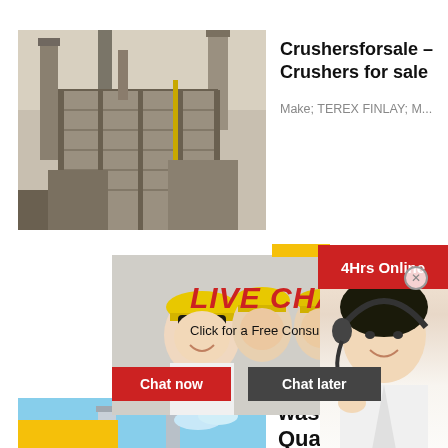[Figure (photo): Industrial crusher/processing plant facility with scaffolding and chimneys, sepia/brown tones]
Crushersforsale – Crushers for sale
Make; TEREX FINLAY; M...
[Figure (photo): Live chat overlay with workers in yellow hard hats and headset lady, showing LIVE CHAT with Click for a Free Consultation, Chat now and Chat later buttons, and 24Hrs Online red bar]
LIVE CHAT
Click for a Free Consultation
Chat now
Chat later
24Hrs Online
[Figure (photo): Industrial plant / cement factory with blue sky, chimneys and red/brown buildings]
waste / Quarry ads for
Crushing C
Need questions & suggestion?
Chat Now
Enquiry
limingjlmofen